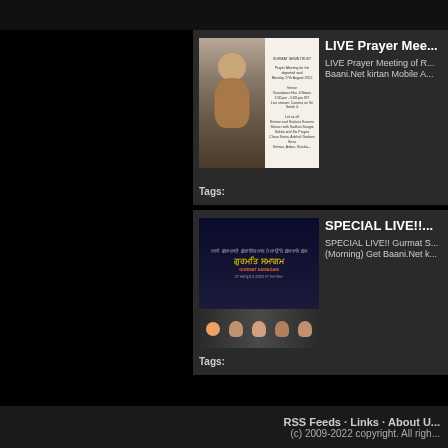LIVE Prayer Mee...
LIVE Prayer Meeting of R... Baani.Net kirtan Mobile A...
Tags:
SPECIAL LIVE!!
SPECIAL LIVE!! Gurmat S... (Morning) Get Baani.Net k...
Tags:
RSS Feeds · Links · About U... (c) 2009-2022 copyright. All righ...